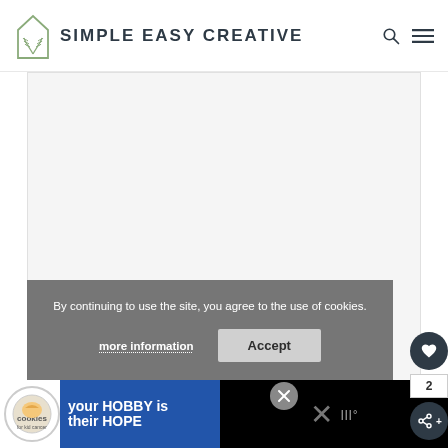SIMPLE EASY CREATIVE
[Figure (photo): Large white/light gray blank image placeholder area in a blog or website layout]
By continuing to use the site, you agree to the use of cookies.
more information   Accept
[Figure (infographic): Advertisement banner: 'your HOBBY is their HOPE' with cookies for kids cancer logo]